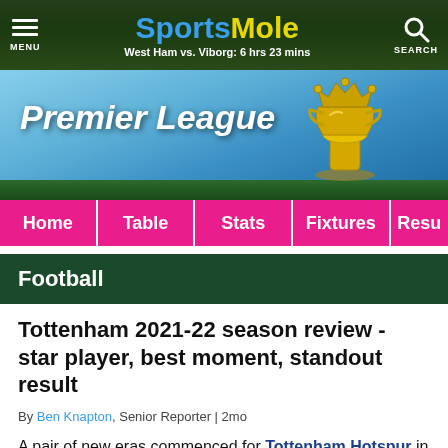SportsMole - West Ham vs. Viborg: 6 hrs 23 mins
[Figure (screenshot): Premier League banner with trophy and blue sky background]
Home | Table | Stats | Fixtures | Resu
Football
Tottenham 2021-22 season review - star player, best moment, standout result
By Ben Knapton, Senior Reporter | 2mo
A pair of new eras commenced for Tottenham Hotspur in the 2021-22 season, as Nuno Espirito Santo began the campaign in the North London dugout before established title-winner Antonio